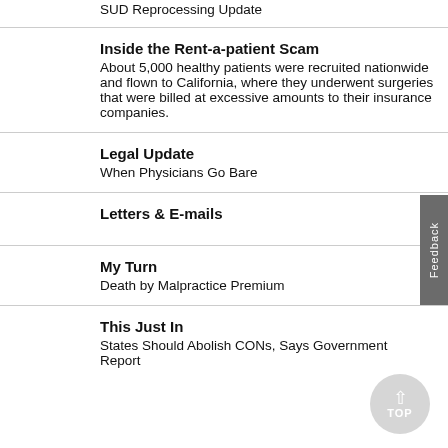SUD Reprocessing Update
Inside the Rent-a-patient Scam
About 5,000 healthy patients were recruited nationwide and flown to California, where they underwent surgeries that were billed at excessive amounts to their insurance companies.
Legal Update
When Physicians Go Bare
Letters & E-mails
My Turn
Death by Malpractice Premium
This Just In
States Should Abolish CONs, Says Government Report